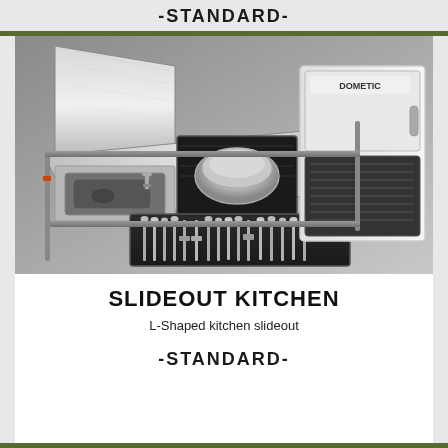-STANDARD-
[Figure (photo): A slideout kitchen unit showing an L-shaped stainless steel kitchen with a sink on the left side, a burner/cooktop in the center section with a stainless bowl, a cutlery drawer pulled out at the front, and a Dometic portable fridge/cooler on the right side. The unit is open and deployed, showing its modular slide-out design.]
SLIDEOUT KITCHEN
L-Shaped kitchen slideout
-STANDARD-